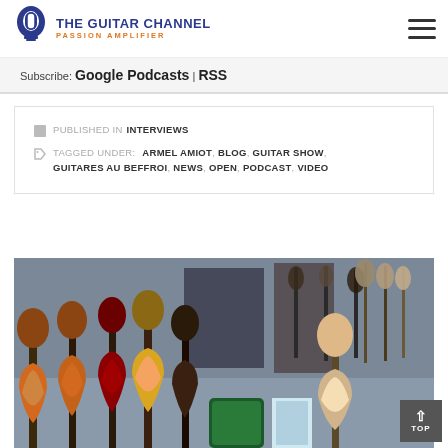THE GUITAR CHANNEL PASSION AMPLIFIER
Subscribe: Google Podcasts | RSS
PUBLISHED IN INTERVIEWS
TAGGED UNDER: ARMEL AMIOT, BLOG, GUITAR SHOW, GUITARES AU BEFFROI, NEWS, OPEN, PODCAST, VIDEO
[Figure (photo): Photo of multiple electric guitars displayed at a guitar show, including Les Paul style guitars in the foreground and various other guitars on stands in the background.]